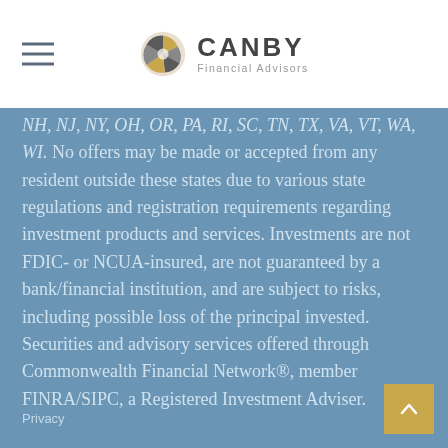Canby Financial Advisors
NH, NJ, NY, OH, OR, PA, RI, SC, TN, TX, VA, VT, WA, WI. No offers may be made or accepted from any resident outside these states due to various state regulations and registration requirements regarding investment products and services. Investments are not FDIC- or NCUA-insured, are not guaranteed by a bank/financial institution, and are subject to risks, including possible loss of the principal invested. Securities and advisory services offered through Commonwealth Financial Network®, member FINRA/SIPC, a Registered Investment Adviser.
Privacy